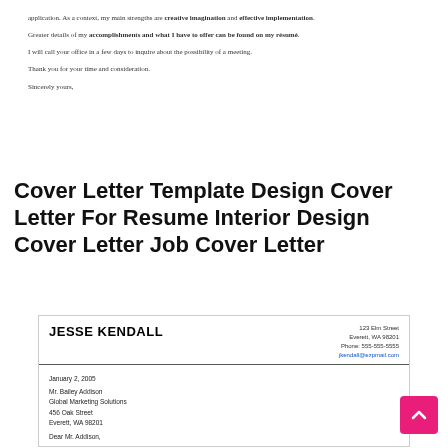application. As a context, my main strengths are creative imagination and effective implementation.
Greater details of my accomplishments and what I have to offer can be found on my résumé.
I will call your office in a few days to inquire about the possibility of a meeting.
Thank you for your time and consideration.
Sincerely yours,
Cover Letter Template Design Cover Letter For Resume Interior Design Cover Letter Job Cover Letter
[Figure (other): Preview of a cover letter for Jesse Kendall dated January 2, 2005, addressed to Mr. Bailey Addison at Global Marketing Solutions, 456 Oak Street, Everett, WA 98201. Header shows address 123 Elm Street, Everett WA 98201, Phone 555-555-5555, jkendall@ezpmail.com. Begins with Dear Mr. Addison,]